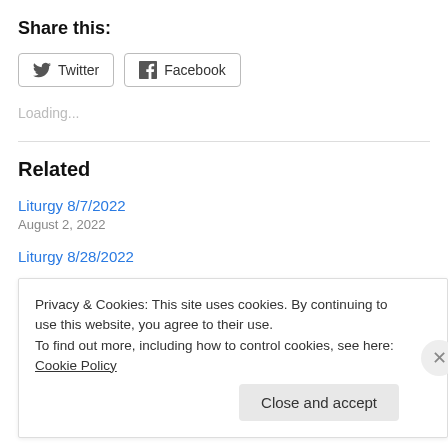Share this:
Twitter | Facebook (social share buttons)
Loading...
Related
Liturgy 8/7/2022
August 2, 2022
Liturgy 8/28/2022
Privacy & Cookies: This site uses cookies. By continuing to use this website, you agree to their use.
To find out more, including how to control cookies, see here: Cookie Policy
Close and accept